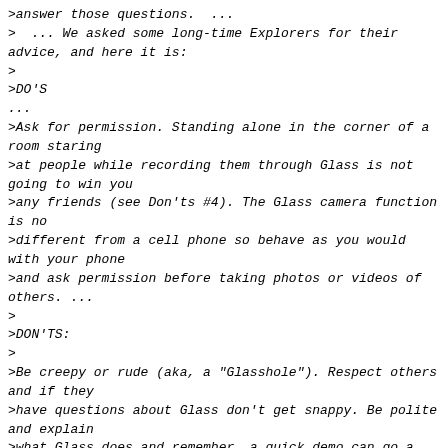>answer those questions.  ...
>  ... We asked some long-time Explorers for their advice, and here it is:
>
>DO'S
...
>Ask for permission. Standing alone in the corner of a room staring
>at people while recording them through Glass is not going to win you
>any friends (see Don'ts #4). The Glass camera function is no
>different from a cell phone so behave as you would with your phone
>and ask permission before taking photos or videos of others. ...
>
>DON'TS:
>
>Be creepy or rude (aka, a "Glasshole"). Respect others and if they
>have questions about Glass don't get snappy. Be polite and explain
>what Glass does and remember, a quick demo can go a long way. In
>places where cell phone cameras aren't allowed, the same rules will
>apply to Glass. If you're asked to turn your phone off, turn Glass
>off as well. Breaking the rules or being rude will not